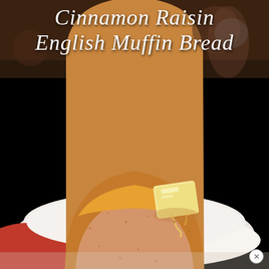[Figure (photo): A thick slice of toasted cinnamon raisin English muffin bread with a pat of butter melting on top, served on a white plate with a red cloth visible underneath. Dark brown background at top.]
Cinnamon Raisin English Muffin Bread